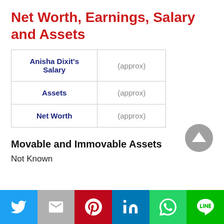Net Worth, Earnings, Salary and Assets
|  |  |
| --- | --- |
| Anisha Dixit's Salary | (approx) |
| Assets | (approx) |
| Net Worth | (approx) |
Movable and Immovable Assets
Not Known